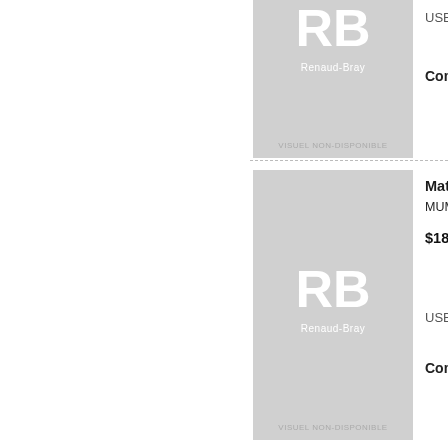[Figure (illustration): Renaud-Bray placeholder book cover with RB logo and VISUEL NON-DISPONIBLE text (top, partially visible)]
USBORNE | Oct
Coming soon
[Figure (illustration): Renaud-Bray placeholder book cover with RB logo and VISUEL NON-DISPONIBLE text for Mathematics]
Mathematics:
MUMBRAY, V
$18.95
USBORNE | Oct
Coming soon
[Figure (illustration): Renaud-Bray placeholder book cover with RB logo and VISUEL NON-DISPONIBLE text for Ludo Board]
Ludo Board
ROBSON, KI
$17.95
USBORNE | Oct
Coming soon
[Figure (illustration): Renaud-Bray placeholder book cover with RB logo for An Elephant, partially visible]
An Elephant
WILLEMS, M